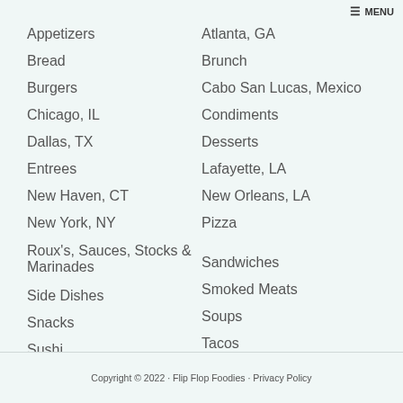≡ MENU
Appetizers
Bread
Burgers
Chicago, IL
Dallas, TX
Entrees
New Haven, CT
New York, NY
Roux's, Sauces, Stocks & Marinades
Side Dishes
Snacks
Sushi
Atlanta, GA
Brunch
Cabo San Lucas, Mexico
Condiments
Desserts
Lafayette, LA
New Orleans, LA
Pizza
Sandwiches
Smoked Meats
Soups
Tacos
Copyright © 2022 · Flip Flop Foodies · Privacy Policy